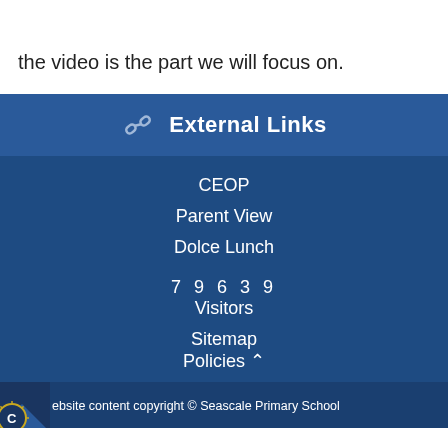the video is the part we will focus on.
External Links
CEOP
Parent View
Dolce Lunch
7 9 6 3 9 Visitors
Sitemap
Policies ^
ebsite content copyright © Seascale Primary School